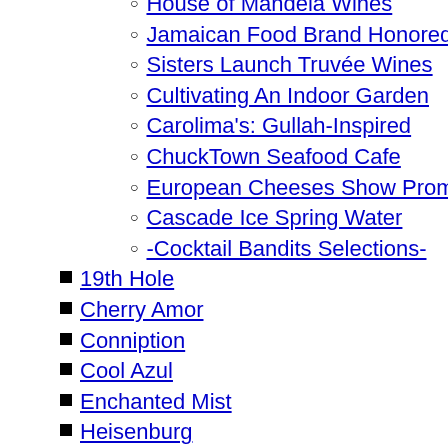House of Mandela Wines
Jamaican Food Brand Honored
Sisters Launch Truvée Wines
Cultivating An Indoor Garden
Carolima's: Gullah-Inspired
ChuckTown Seafood Cafe
European Cheeses Show Promise
Cascade Ice Spring Water
-Cocktail Bandits Selections-
19th Hole
Cherry Amor
Conniption
Cool Azul
Enchanted Mist
Heisenburg
Master Key